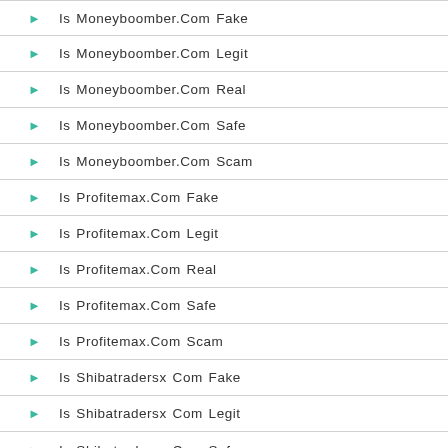Is Moneyboomber.Com Fake
Is Moneyboomber.Com Legit
Is Moneyboomber.Com Real
Is Moneyboomber.Com Safe
Is Moneyboomber.Com Scam
Is Profitemax.Com Fake
Is Profitemax.Com Legit
Is Profitemax.Com Real
Is Profitemax.Com Safe
Is Profitemax.Com Scam
Is Shibatradersx Com Fake
Is Shibatradersx Com Legit
Is Shibatradersx Com Safe